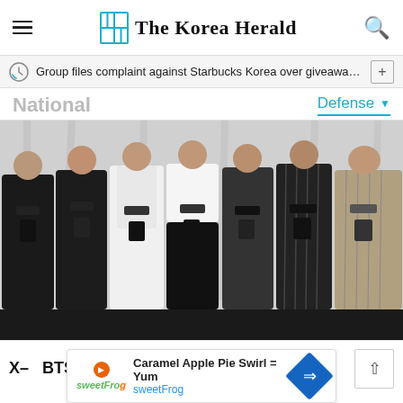The Korea Herald
Group files complaint against Starbucks Korea over giveaway ba···
National
Defense
[Figure (photo): Group of approximately 7 people standing in a row on a stage, each holding a small dark trophy/award. They are dressed in various outfits including black sweaters, white cardigans, formal shirts, and patterned jackets, against a draped white/grey background.]
BTS ...
Caramel Apple Pie Swirl = Yum
sweetFrog